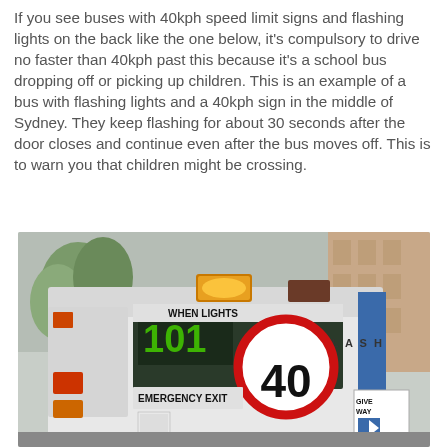If you see buses with 40kph speed limit signs and flashing lights on the back like the one below, it's compulsory to drive no faster than 40kph past this because it's a school bus dropping off or picking up children. This is an example of a bus with flashing lights and a 40kph sign in the middle of Sydney. They keep flashing for about 30 seconds after the door closes and continue even after the bus moves off. This is to warn you that children might be crossing.
[Figure (photo): Rear view of a public bus in Sydney showing a 40kph speed limit circular sign, flashing amber warning lights on top, text reading 'WHEN LIGHTS FLASH' and 'EMERGENCY EXIT', and a 'GIVE WAY' sign in the lower right.]